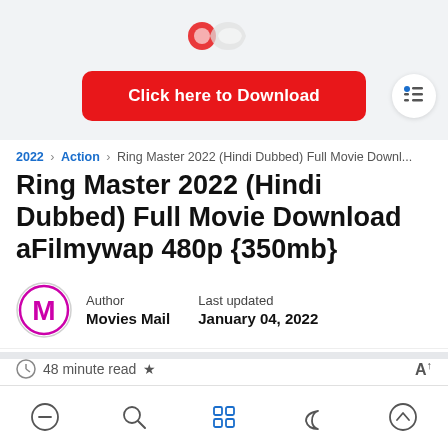[Figure (screenshot): Top bar with partial app icons visible at the top]
[Figure (infographic): Red download button labeled 'Click here to Download' with a table-of-contents icon on the right]
2022 › Action › Ring Master 2022 (Hindi Dubbed) Full Movie Downl...
Ring Master 2022 (Hindi Dubbed) Full Movie Download aFilmywap 480p {350mb}
Author
Movies Mail
Last updated
January 04, 2022
48 minute read ★
[Figure (infographic): Bottom navigation bar with 5 icons: minus/home, search, grid/apps, moon/dark mode, up arrow]